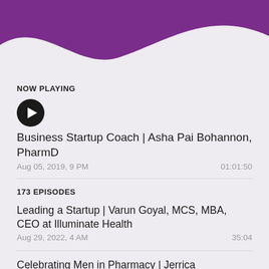[Figure (illustration): Purple wave header graphic at top of screen]
NOW PLAYING
[Figure (other): Black circular play button icon]
Business Startup Coach | Asha Pai Bohannon, PharmD
Aug 05, 2019, 9 PM   01:01:50
173 EPISODES
Leading a Startup | Varun Goyal, MCS, MBA, CEO at Illuminate Health
Aug 29, 2022, 4 AM   35:04
Celebrating Men in Pharmacy | Jerrica